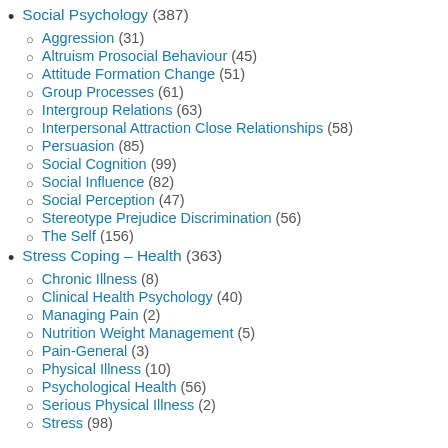Social Psychology (387)
Aggression (31)
Altruism Prosocial Behaviour (45)
Attitude Formation Change (51)
Group Processes (61)
Intergroup Relations (63)
Interpersonal Attraction Close Relationships (58)
Persuasion (85)
Social Cognition (99)
Social Influence (82)
Social Perception (47)
Stereotype Prejudice Discrimination (56)
The Self (156)
Stress Coping – Health (363)
Chronic Illness (8)
Clinical Health Psychology (40)
Managing Pain (2)
Nutrition Weight Management (5)
Pain-General (3)
Physical Illness (10)
Psychological Health (56)
Serious Physical Illness (2)
Stress (98)